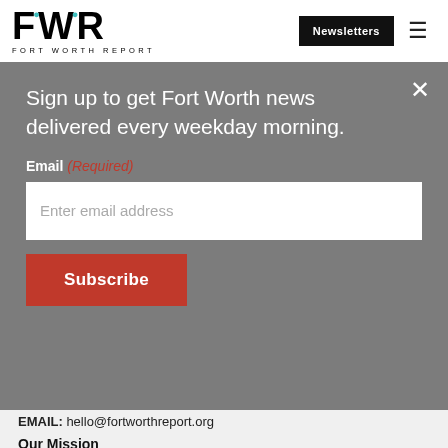[Figure (logo): Fort Worth Report logo with FWR letters in bold and teal dot accents, with 'FORT WORTH REPORT' subtitle]
Newsletters
Sign up to get Fort Worth news delivered every weekday morning.
Email (Required)
Enter email address
Subscribe
EMAIL: hello@fortworthreport.org
Our Mission
We pledge to produce high-quality objective local journalism